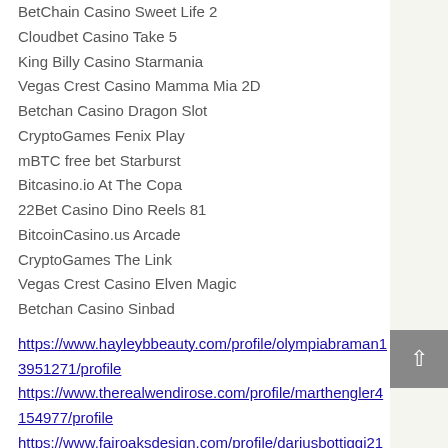BetChain Casino Sweet Life 2
Cloudbet Casino Take 5
King Billy Casino Starmania
Vegas Crest Casino Mamma Mia 2D
Betchan Casino Dragon Slot
CryptoGames Fenix Play
mBTC free bet Starburst
Bitcasino.io At The Copa
22Bet Casino Dino Reels 81
BitcoinCasino.us Arcade
CryptoGames The Link
Vegas Crest Casino Elven Magic
Betchan Casino Sinbad
https://www.hayleybbeauty.com/profile/olympiabraman13951271/profile
https://www.therealwendirose.com/profile/marthengler4154977/profile
https://www.fairoaksdesign.com/profile/dariusbottiggi2138488/profile
https://www.yehstouch.com/profile/eulaliasivie6420969/profile